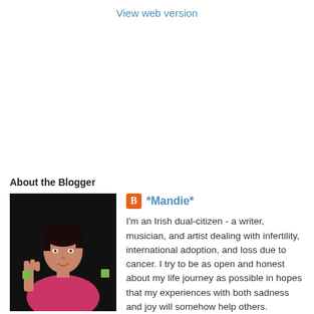View web version
About the Blogger
[Figure (photo): Photo of blogger *Mandie* - a woman with short dark hair wearing a pink top, holding up her hand]
*Mandie*
I'm an Irish dual-citizen - a writer, musician, and artist dealing with infertility, international adoption, and loss due to cancer. I try to be as open and honest about my life journey as possible in hopes that my experiences with both sadness and joy will somehow help others.